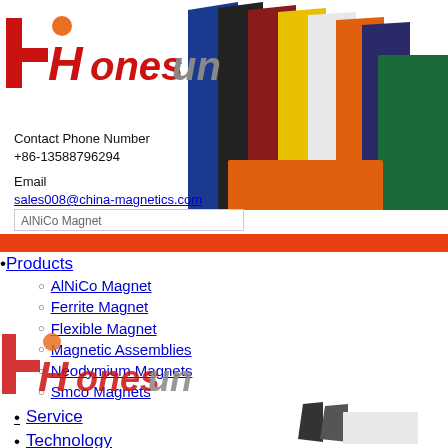[Figure (logo): Honesun company logo with red stylized 'H' and orange dot, red and grey text]
[Figure (photo): Fanned out colorful flexible magnet sheets in blue, black, dark red, yellow, white, orange, dark green colors]
Contact Phone Number
+86-13588796294
Email
sales008@china-magnetics.com
AlNiCo Magnet
Products
AlNiCo Magnet
Ferrite Magnet
Flexible Magnet
Magnetic Assemblies
Neodymium Magnets
Smco Magnets
Service
Technology
Buy Online
About Us
News
Contact